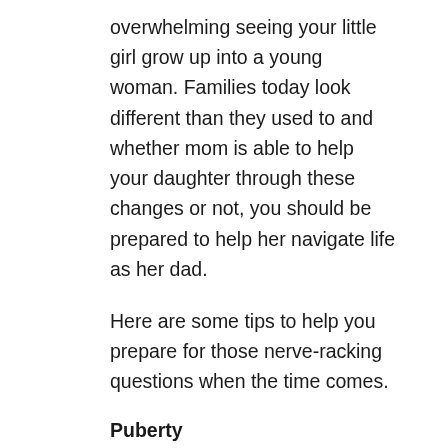overwhelming seeing your little girl grow up into a young woman. Families today look different than they used to and whether mom is able to help your daughter through these changes or not, you should be prepared to help her navigate life as her dad.
Here are some tips to help you prepare for those nerve-racking questions when the time comes.
Puberty
The average age when a girl begins going through puberty is between 9 and 12. The first sign of puberty starting is breast development.